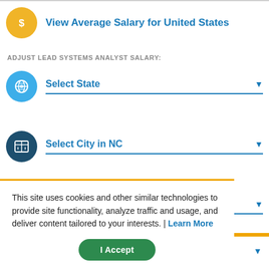View Average Salary for United States
ADJUST LEAD SYSTEMS ANALYST SALARY:
Select State
Select City in NC
Choose Similar Job
This site uses cookies and other similar technologies to provide site functionality, analyze traffic and usage, and deliver content tailored to your interests. | Learn More
I Accept